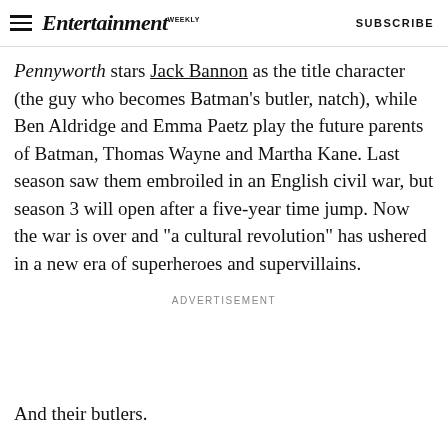Entertainment Weekly  SUBSCRIBE
Pennyworth stars Jack Bannon as the title character (the guy who becomes Batman's butler, natch), while Ben Aldridge and Emma Paetz play the future parents of Batman, Thomas Wayne and Martha Kane. Last season saw them embroiled in an English civil war, but season 3 will open after a five-year time jump. Now the war is over and "a cultural revolution" has ushered in a new era of superheroes and supervillains.
ADVERTISEMENT
And their butlers.